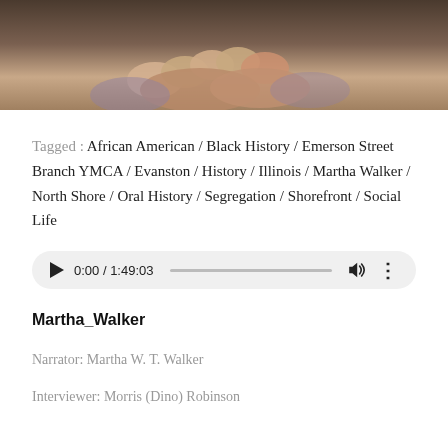[Figure (photo): Cropped photo showing a person's hands clasped together, wearing a patterned garment]
Tagged : African American / Black History / Emerson Street Branch YMCA / Evanston / History / Illinois / Martha Walker / North Shore / Oral History / Segregation / Shorefront / Social Life
[Figure (screenshot): Audio player showing 0:00 / 1:49:03 with play button, progress bar, volume, and more options]
Martha_Walker
Narrator: Martha W. T. Walker
Interviewer: Morris (Dino) Robinson